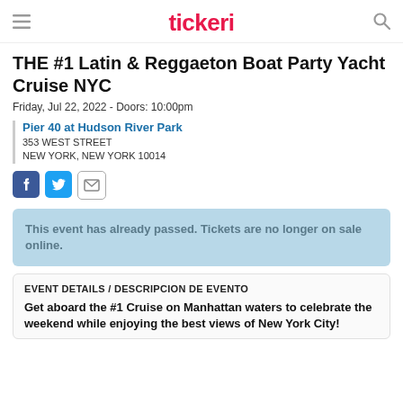tickeri
THE #1 Latin & Reggaeton Boat Party Yacht Cruise NYC
Friday, Jul 22, 2022 - Doors: 10:00pm
Pier 40 at Hudson River Park
353 WEST STREET
NEW YORK, NEW YORK 10014
[Figure (other): Social sharing icons: Facebook, Twitter, Email]
This event has already passed. Tickets are no longer on sale online.
EVENT DETAILS / DESCRIPCION DE EVENTO
Get aboard the #1 Cruise on Manhattan waters to celebrate the weekend while enjoying the best views of New York City!